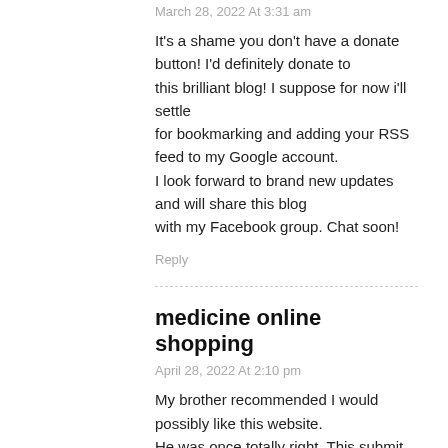March 28, 2022 At 3:31 am
It’s a shame you don’t have a donate button! I’d definitely donate to this brilliant blog! I suppose for now i’ll settle for bookmarking and adding your RSS feed to my Google account. I look forward to brand new updates and will share this blog with my Facebook group. Chat soon!
Reply
medicine online shopping
April 28, 2022 At 2:10 pm
My brother recommended I would possibly like this website. He was once totally right. This submit truly made my day. You cann’t believe just how so much time I had spent for this info! Thanks!